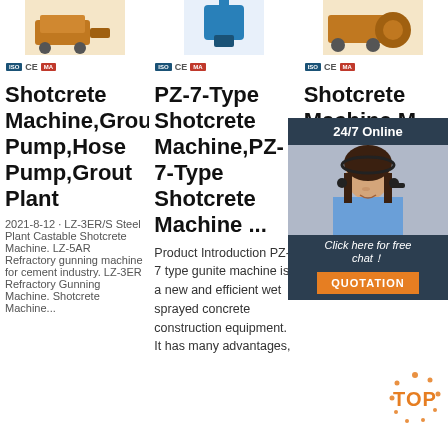[Figure (photo): Three product images of shotcrete/grouting machines shown in a row at top of page, with certification badges below each (ISO, CE, MA)]
Shotcrete Machine,Grout Pump,Hose Pump,Grout Plant
PZ-7-Type Shotcrete Machine,PZ-7-Type Shotcrete Machine ...
Shotcrete Machine,Ma... Fr... Ch...
2021-8-12 · LZ-3ER/S Steel Plant Castable Shotcrete Machine. LZ-5AR Refractory gunning machine for cement industry. LZ-3ER Refractory Gunning Machine. Shotcrete Machine...
Product Introduction PZ-7 type gunite machine is a new and efficient wet sprayed concrete construction equipment. It has many advantages,
2010... potential... are... protection, lining of water tanks and swimming pools, guniting for single and double shell tunnel construction...
[Figure (photo): 24/7 Online chat widget with female customer service agent photo, 'Click here for free chat!' link, and orange QUOTATION button]